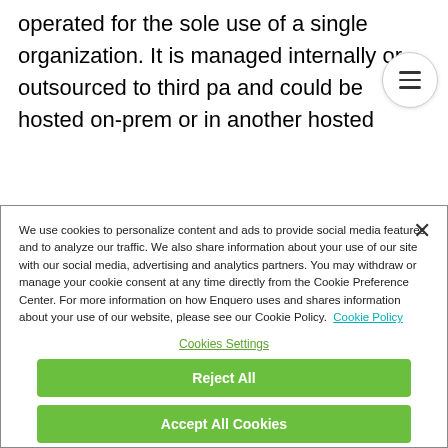operated for the sole use of a single organization. It is managed internally or outsourced to third pa and could be hosted on-prem or in another hosted
We use cookies to personalize content and ads to provide social media features and to analyze our traffic. We also share information about your use of our site with our social media, advertising and analytics partners. You may withdraw or manage your cookie consent at any time directly from the Cookie Preference Center. For more information on how Enquero uses and shares information about your use of our website, please see our Cookie Policy. Cookie Policy
Cookies Settings
Reject All
Accept All Cookies